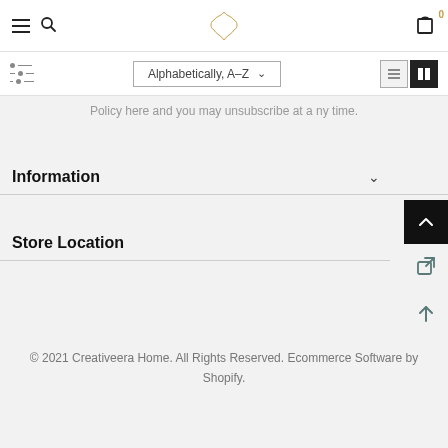[Figure (screenshot): Top navigation bar with hamburger menu, search icon, Creativeera flower logo, and cart icon with badge 0]
[Figure (screenshot): Filter/sort bar with sliders icon, Alphabetically A-Z dropdown, and list/grid view toggle buttons]
Policy here and you may unsubscribe at a ny time.
Information
Store Location
© 2021 Creativeera Home. All Rights Reserved. Ecommerce Software by Shopify.